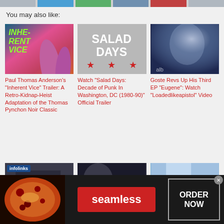You may also like:
[Figure (photo): Movie poster for Inherent Vice showing raised hands against a sunset sky with green title text]
Paul Thomas Anderson's "Inherent Vice" Trailer: A Retro-Kidnap-Heist Adaptation of the Thomas Pynchon Noir Classic
[Figure (photo): Black and white documentary poster for Salad Days showing large bold text and three red stars from the DC flag]
Watch "Salad Days: Decade of Punk In Washington, DC (1980-90)" Official Trailer
[Figure (photo): Dark moody close-up portrait of a person with blue tones, artist logo visible]
Goste Revs Up His Third EP "Eugene": Watch "Loadedlikeapistol" Video
[Figure (photo): Partial view of second row of article thumbnails, partially obscured]
[Figure (photo): Seamless food delivery advertisement banner with pizza image, Seamless logo, and ORDER NOW button]